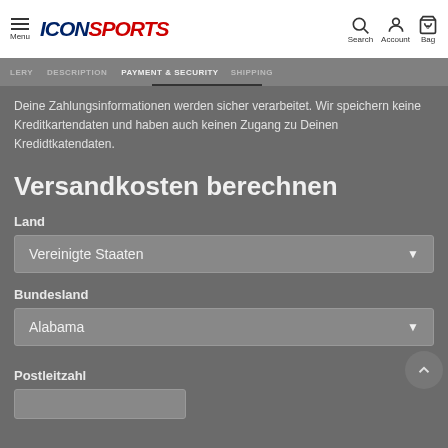ICON SPORTS — Menu | Search | Account | Bag
LERY  DESCRIPTION  PAYMENT & SECURITY  SHIPPING
Deine Zahlungsinformationen werden sicher verarbeitet. Wir speichern keine Kreditkartendaten und haben auch keinen Zugang zu Deinen Kredidtkatendaten.
Versandkosten berechnen
Land
Vereinigte Staaten
Bundesland
Alabama
Postleitzahl